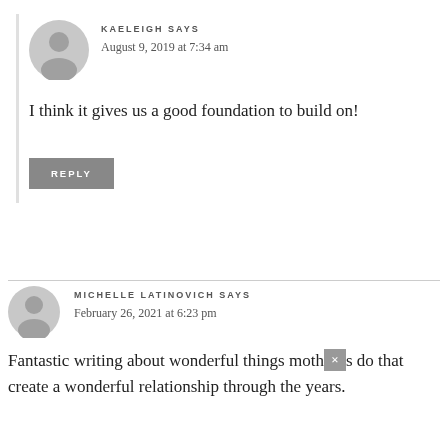KAELEIGH SAYS
August 9, 2019 at 7:34 am
I think it gives us a good foundation to build on!
REPLY
MICHELLE LATINOVICH SAYS
February 26, 2021 at 6:23 pm
Fantastic writing about wonderful things mothers do that create a wonderful relationship through the years.